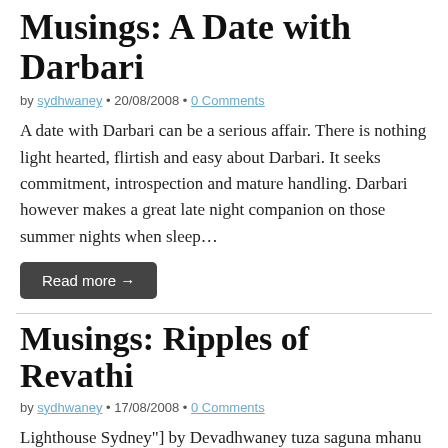Musings: A Date with Darbari
by sydhwaney • 20/08/2008 • 0 Comments
A date with Darbari can be a serious affair. There is nothing light hearted, flirtish and easy about Darbari. It seeks commitment, introspection and mature handling. Darbari however makes a great late night companion on those summer nights when sleep…
Read more →
Musings: Ripples of Revathi
by sydhwaney • 17/08/2008 • 0 Comments
Lighthouse Sydney"] by Devadhwaney tuza saguna mhanu ki nirgun re saguna nirguna eku govindu re anumane na anumane na shruti neti neti mhanati govindu re tuz sthul mhanu ki sukshma